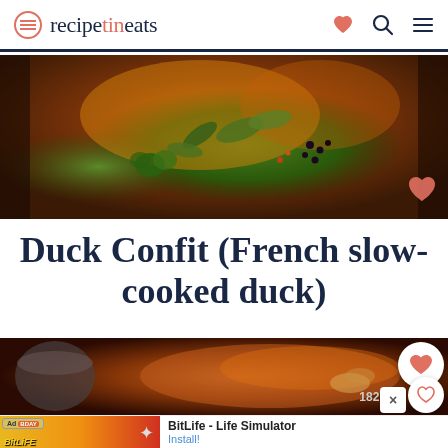recipetineats
[Figure (photo): Close-up food photo of roasted poultry with herbs including sage and parsley, with dark berries, golden brown skin]
Duck Confit (French slow-cooked duck)
[Figure (photo): Close-up photo of duck confit with rich dark brown crispy skin, with a count of 182.3k saves shown]
Ad — BitLife - Life Simulator — Install!